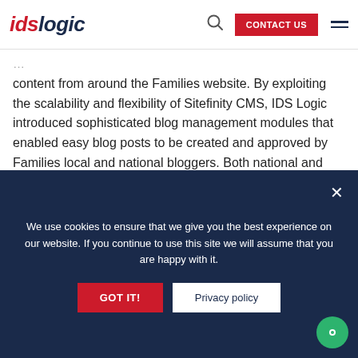idslogic | CONTACT US
content from around the Families website. By exploiting the scalability and flexibility of Sitefinity CMS, IDS Logic introduced sophisticated blog management modules that enabled easy blog posts to be created and approved by Families local and national bloggers. Both national and local targeting of blog items were developed to bolster Families online presence to both the local and national audiences.
Ask An Expert
We use cookies to ensure that we give you the best experience on our website. If you continue to use this site we will assume that you are happy with it.
GOT IT! | Privacy policy